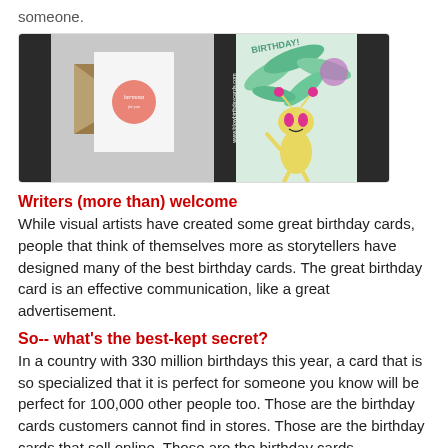someone.
[Figure (photo): Two birthday card images side by side: left shows a minimalist white card with a coral circle and handwritten text with a kraft envelope, right shows a cartoon alien with pink hair antennae holding a birthday card with tropical leaf background. Website URL www.blowbirthdaycards.com visible.]
Writers (more than) welcome
While visual artists have created some great birthday cards, people that think of themselves more as storytellers have designed many of the best birthday cards. The great birthday card is an effective communication, like a great advertisement.
So-- what's the best-kept secret?
In a country with 330 million birthdays this year, a card that is so specialized that it is perfect for someone you know will be perfect for 100,000 other people too. Those are the birthday cards customers cannot find in stores. Those are the birthday cards that sell online. Those are the birthday cards